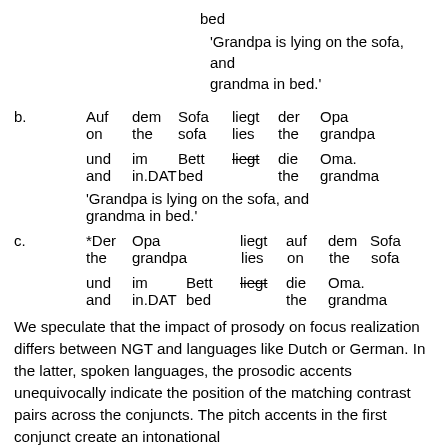bed
'Grandpa is lying on the sofa, and grandma in bed.'
b.  Auf dem Sofa liegt der Opa
    on the sofa lies the grandpa
    und im Bett liegt die Oma.
    and in.DAT bed the grandma
    'Grandpa is lying on the sofa, and grandma in bed.'
c.  *Der Opa liegt auf dem Sofa
    the grandpa lies on the sofa
    und im Bett liegt die Oma.
    and in.DAT bed the grandma
We speculate that the impact of prosody on focus realization differs between NGT and languages like Dutch or German. In the latter, spoken languages, the prosodic accents unequivocally indicate the position of the matching contrast pairs across the conjuncts. The pitch accents in the first conjunct create an intonational